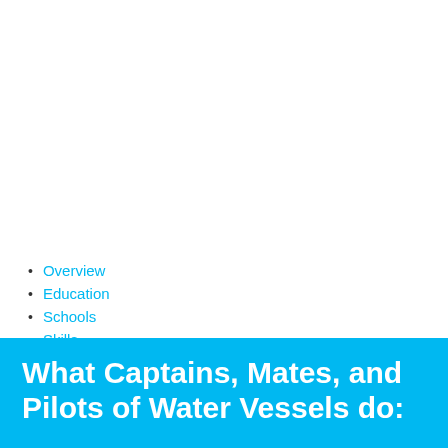Overview
Education
Schools
Skills
Salary
What Captains, Mates, and Pilots of Water Vessels do: